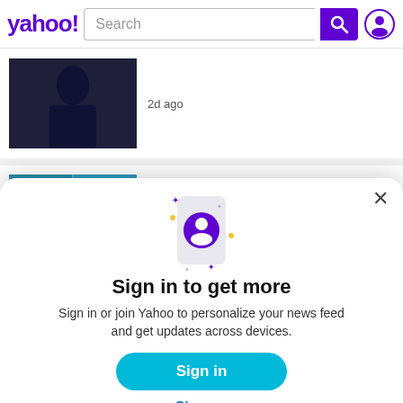yahoo! Search
2d ago
U.S. · In The Know by Yahoo
TikToker debates appropriateness of woman's
[Figure (screenshot): Yahoo sign-in modal with profile icon on phone graphic, Sign in to get more message, Sign in button, Sign up link]
Sign in to get more
Sign in or join Yahoo to personalize your news feed and get updates across devices.
Sign in
Sign up